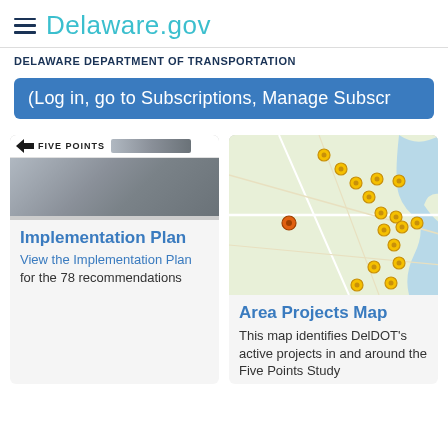Delaware.gov
DELAWARE DEPARTMENT OF TRANSPORTATION
(Log in, go to Subscriptions, Manage Subscr
[Figure (screenshot): Five Points aerial/road header image with logo and label]
Implementation Plan
View the Implementation Plan for the 78 recommendations
[Figure (map): Map showing DelDOT's active projects in and around the Five Points Study area with yellow map marker pins]
Area Projects Map
This map identifies DelDOT's active projects in and around the Five Points Study